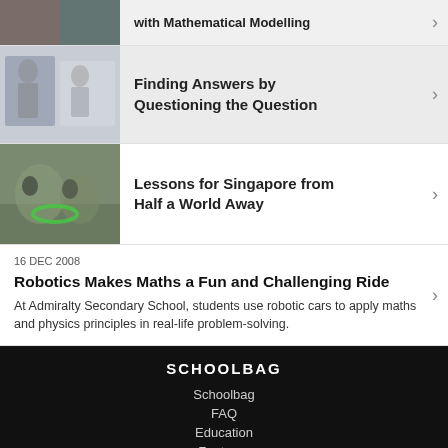with Mathematical Modelling
[Figure (photo): Students at amusement park / outdoor activity (partial, top)]
Finding Answers by Questioning the Question
[Figure (photo): Students in classroom setting, writing on board]
Lessons for Singapore from Half a World Away
[Figure (photo): Students doing outdoor activity with green hoop]
16 DEC 2008
Robotics Makes Maths a Fun and Challenging Ride
At Admiralty Secondary School, students use robotic cars to apply maths and physics principles in real-life problem-solving.
SCHOOLBAG
Schoolbag
FAQ
Education
Features